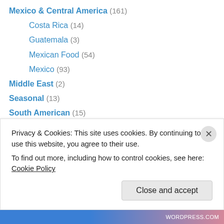Mexico & Central America (161)
Costa Rica (14)
Guatemala (3)
Mexican Food (54)
Mexico (93)
Middle East (2)
Seasonal (13)
South American (15)
Argentina (12)
USA & Canada (188)
American Southwest (42)
Arizona (12)
Colorado (5)
Privacy & Cookies: This site uses cookies. By continuing to use this website, you agree to their use. To find out more, including how to control cookies, see here: Cookie Policy